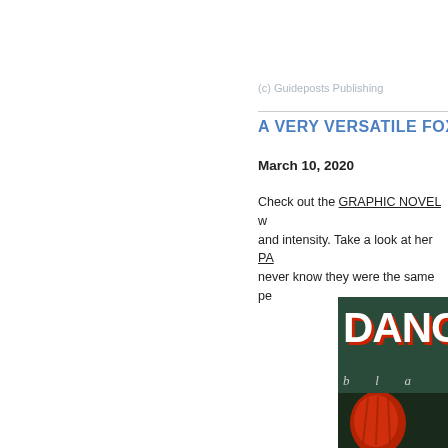(c) Guideposts Publishing
A VERY VERSATILE FOX
March 10, 2020
Check out the GRAPHIC NOVEL w... and intensity. Take a look at her PA... never know they were the same pe...
[Figure (photo): Book cover showing the word DANC (truncated) with red and white bold text on a dark green background, subtitle 'bla' (truncated) in light gray spaced letters, with a red illustrated figure at the bottom]